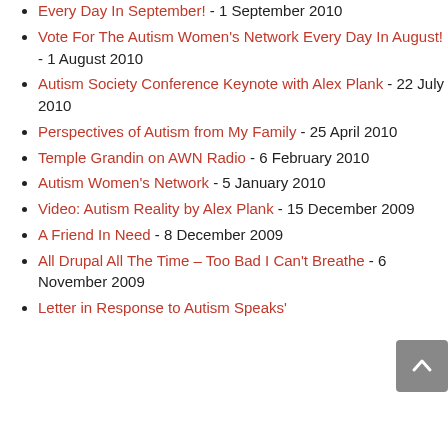Every Day In September! - 1 September 2010
Vote For The Autism Women's Network Every Day In August! - 1 August 2010
Autism Society Conference Keynote with Alex Plank - 22 July 2010
Perspectives of Autism from My Family - 25 April 2010
Temple Grandin on AWN Radio - 6 February 2010
Autism Women's Network - 5 January 2010
Video: Autism Reality by Alex Plank - 15 December 2009
A Friend In Need - 8 December 2009
All Drupal All The Time – Too Bad I Can't Breathe - 6 November 2009
Letter in Response to Autism Speaks'